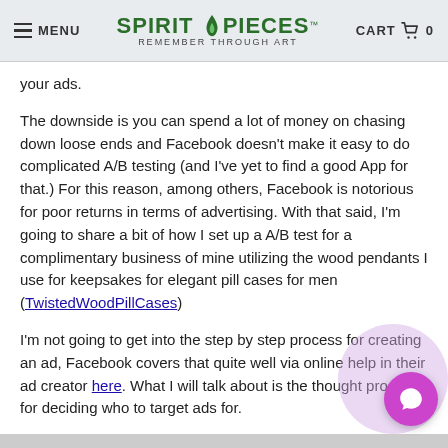MENU | SPIRIT PIECES Remember Through Art | CART 0
your ads.
The downside is you can spend a lot of money on chasing down loose ends and Facebook doesn't make it easy to do complicated A/B testing (and I've yet to find a good App for that.) For this reason, among others, Facebook is notorious for poor returns in terms of advertising. With that said, I'm going to share a bit of how I set up a A/B test for a complimentary business of mine utilizing the wood pendants I use for keepsakes for elegant pill cases for men (TwistedWoodPillCases)
I'm not going to get into the step by step process for creating an ad, Facebook covers that quite well via online help in their ad creator here. What I will talk about is the thought process for deciding who to target ads for.
My Twisted Wood Pill Cases are these little wonders. Abo length, 3/8th inch diameter and hold 4-5 pills: